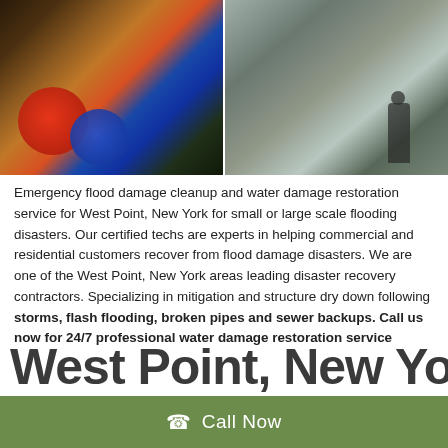[Figure (photo): Two photos side by side: left shows flood restoration equipment (red and blue fans/blowers) on a damaged kitchen floor; right shows a worker with a hose cleaning a flooded commercial space.]
Emergency flood damage cleanup and water damage restoration service for West Point, New York for small or large scale flooding disasters. Our certified techs are experts in helping commercial and residential customers recover from flood damage disasters. We are one of the West Point, New York areas leading disaster recovery contractors. Specializing in mitigation and structure dry down following storms, flash flooding, broken pipes and sewer backups. Call us now for 24/7 professional water damage restoration service
West Point, New York
Call Now